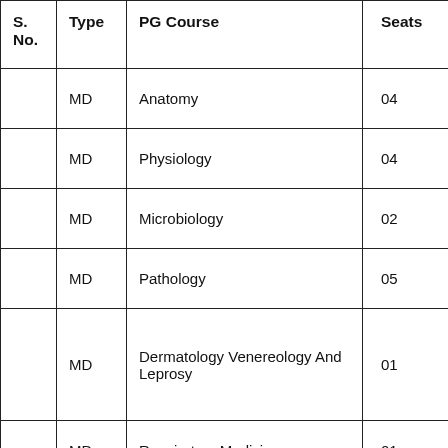| S. No. | Type | PG Course | Seats |
| --- | --- | --- | --- |
|  | MD | Anatomy | 04 |
|  | MD | Physiology | 04 |
|  | MD | Microbiology | 02 |
|  | MD | Pathology | 05 |
|  | MD | Dermatology Venereology And Leprosy | 01 |
|  | MD | Respiratory Medicine | 01 |
|  | MD | Paediatrics | 03 |